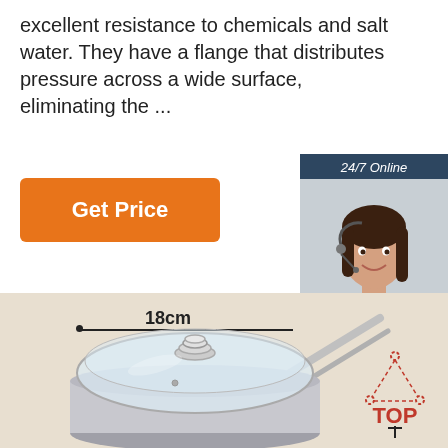excellent resistance to chemicals and salt water. They have a flange that distributes pressure across a wide surface, eliminating the ...
[Figure (other): Orange 'Get Price' button]
[Figure (other): 24/7 Online chat widget with female agent photo, 'Click here for free chat!' text, and orange QUOTATION button]
[Figure (photo): Stainless steel saucepan with glass lid on beige background, annotated with 18cm dimension line and TOP indicator icon]